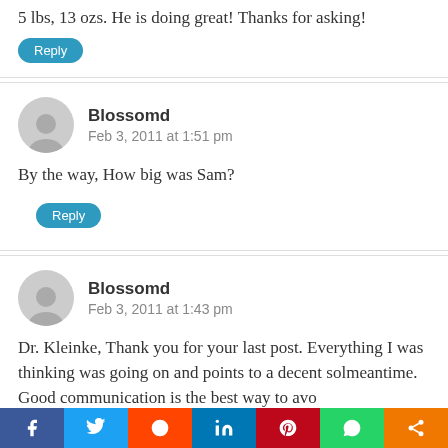5 lbs, 13 ozs. He is doing great! Thanks for asking!
Reply
Blossomd
Feb 3, 2011 at 1:51 pm
By the way, How big was Sam?
Reply
Blossomd
Feb 3, 2011 at 1:43 pm
Dr. Kleinke, Thank you for your last post. Everything I was thinking was going on and points to a decent solution in the meantime. Good communication is the best way to avo...
[Figure (infographic): Social share bar with Facebook, Twitter, Reddit, LinkedIn, Pinterest, WhatsApp, and Share buttons]